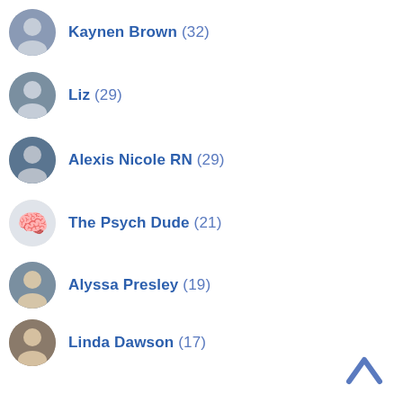Kaynen Brown (32)
Liz (29)
Alexis Nicole RN (29)
The Psych Dude (21)
Alyssa Presley (19)
Linda Dawson (17)
BJ Strickland (17)
Rhianna Ferial (16)
Mercy Gono (16)
Justine Feather (15)